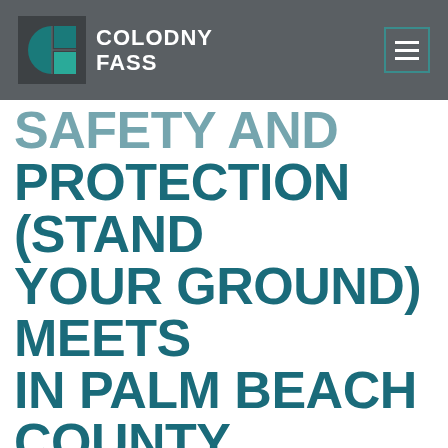COLODNY FASS
SAFETY AND PROTECTION (STAND YOUR GROUND) MEETS IN PALM BEACH COUNTY, MIAMI-DADE ON SEPTEMBER 12, 13
Aug 27, 2012